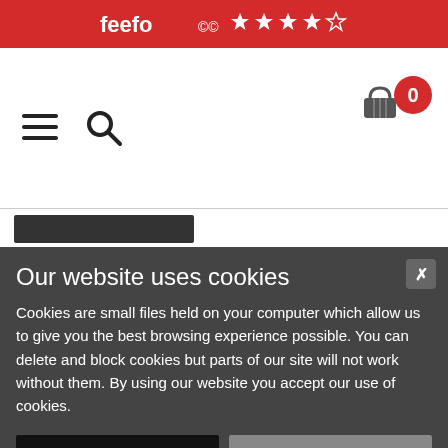feefo ★★★★☆
[Figure (screenshot): Navigation bar with hamburger menu icon, search icon, basket icon, and red badge showing 0]
Our website uses cookies
Cookies are small files held on your computer which allow us to give you the best browsing experience possible. You can delete and block cookies but parts of our site will not work without them. By using our website you accept our use of cookies.
I'm happy with this
Find out more